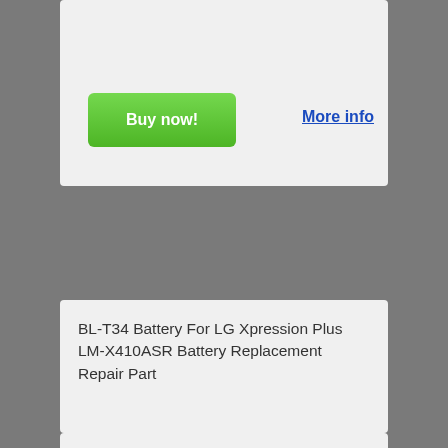Buy now!
More info
BL-T34 Battery For LG Xpression Plus LM-X410ASR Battery Replacement Repair Part
[Figure (photo): Product photo showing an LG smartphone alongside a BL-T34 replacement battery with visible label and safety certification icons]